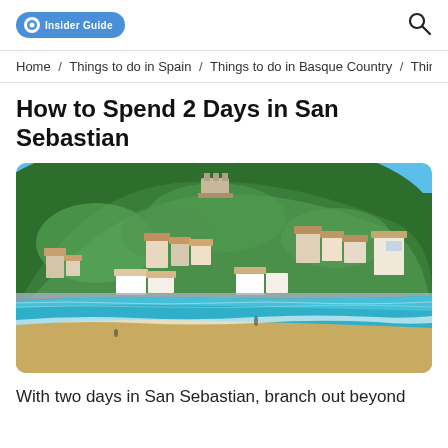Insider Guide [logo] [search icon]
Home / Things to do in Spain / Things to do in Basque Country / Thing
How to Spend 2 Days in San Sebastian
[Figure (photo): Scenic coastal view of San Sebastian, Spain — a green hillside covered with buildings and trees rising above a sandy beach with turquoise water in the foreground, blue sky above.]
With two days in San Sebastian, branch out beyond